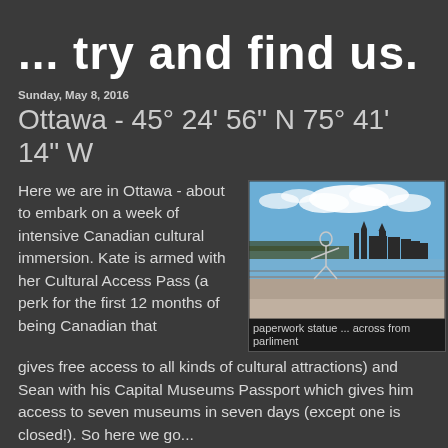... try and find us.
Sunday, May 8, 2016
Ottawa - 45° 24' 56" N 75° 41' 14" W
Here we are in Ottawa - about to embark on a week of intensive Canadian cultural immersion.  Kate is armed with her Cultural Access Pass (a perk for the first 12 months of being Canadian that gives free access to all kinds of cultural attractions) and Sean with his Capital Museums Passport which gives him access to seven museums in seven days (except one is closed!).  So here we go...
[Figure (photo): Photo of a paperwork/wire-frame running statue on a plaza overlooking the Ottawa River with Parliament Hill visible in the background against a blue sky with clouds.]
paperwork statue ... across from parliment